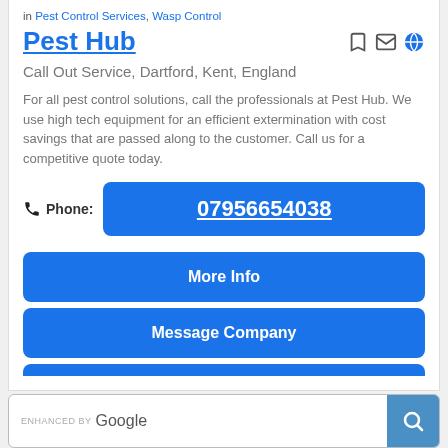in Pest Control Services, Wasp Control
Pest Hub
Call Out Service, Dartford, Kent, England
For all pest control solutions, call the professionals at Pest Hub. We use high tech equipment for an efficient extermination with cost savings that are passed along to the customer. Call us for a competitive quote today.
Phone: 07956654038
More Info
Message Company